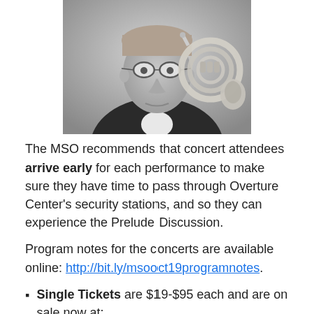[Figure (photo): Black and white photo of a musician holding a French horn, wearing formal attire with round glasses]
The MSO recommends that concert attendees arrive early for each performance to make sure they have time to pass through Overture Center's security stations, and so they can experience the Prelude Discussion.
Program notes for the concerts are available online: http://bit.ly/msooct19programnotes.
Single Tickets are $19-$95 each and are on sale now at: https://madisonsymphony.org/event/rachel-barton-